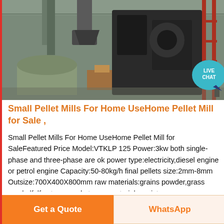[Figure (photo): Industrial pellet mill machines inside a warehouse/factory setting, showing large dark-colored machinery, pipes, and equipment on a factory floor with metal roofing visible above.]
Small Pellet Mills For Home UseHome Pellet Mill for Sale ,
Small Pellet Mills For Home UseHome Pellet Mill for SaleFeatured Price Model:VTKLP 125 Power:3kw both single-phase and three-phase are ok power type:electricity,diesel engine or petrol engine Capacity:50-80kg/h final pellets size:2mm-8mm Outsize:700X400X800mm raw materials:grains powder,grass meal,alfalfa,straw meal,etc raw materials moisture